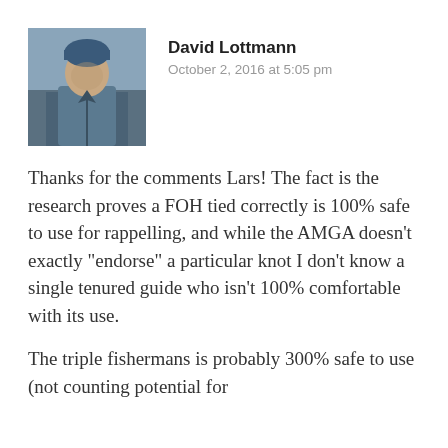[Figure (photo): Avatar photo of David Lottmann, a person wearing a blue hoodie and jacket outdoors, likely in a cold environment]
David Lottmann
October 2, 2016 at 5:05 pm
Thanks for the comments Lars! The fact is the research proves a FOH tied correctly is 100% safe to use for rappelling, and while the AMGA doesn’t exactly “endorse” a particular knot I don’t know a single tenured guide who isn’t 100% comfortable with its use.
The triple fishermans is probably 300% safe to use (not counting potential for